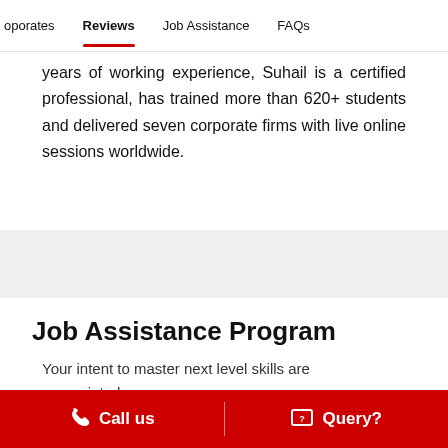oporates | Reviews | Job Assistance | FAQs
years of working experience, Suhail is a certified professional, has trained more than 620+ students and delivered seven corporate firms with live online sessions worldwide.
Job Assistance Program
Your intent to master next level skills are appreciated
Call us | Query?